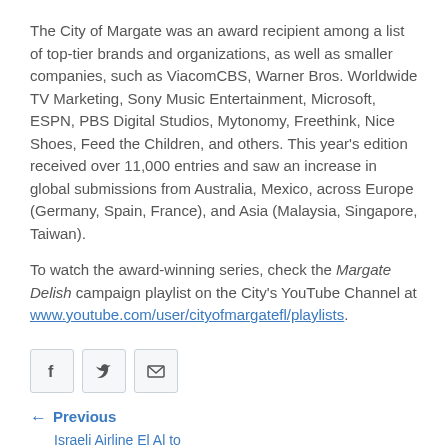The City of Margate was an award recipient among a list of top-tier brands and organizations, as well as smaller companies, such as ViacomCBS, Warner Bros. Worldwide TV Marketing, Sony Music Entertainment, Microsoft, ESPN, PBS Digital Studios, Mytonomy, Freethink, Nice Shoes, Feed the Children, and others. This year's edition received over 11,000 entries and saw an increase in global submissions from Australia, Mexico, across Europe (Germany, Spain, France), and Asia (Malaysia, Singapore, Taiwan).
To watch the award-winning series, check the Margate Delish campaign playlist on the City's YouTube Channel at www.youtube.com/user/cityofmargatefl/playlists.
[Figure (infographic): Three social sharing buttons: Facebook (f), Twitter (bird icon), and Email (envelope icon)]
← Previous
Israeli Airline El Al to Relocate Headquarters to Margate CRA